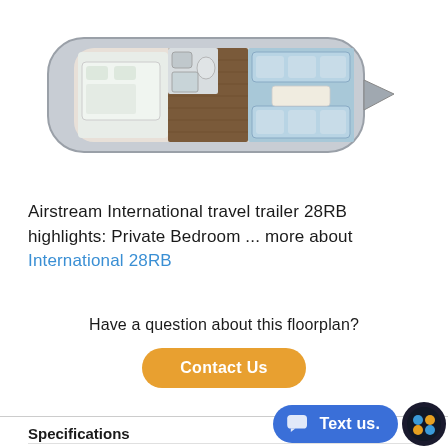[Figure (illustration): Overhead floor plan illustration of an Airstream International travel trailer 28RB showing bedroom, bathroom, kitchen, and living area with blue/teal and wood-tone interior]
Airstream International travel trailer 28RB highlights: Private Bedroom ... more about International 28RB
Have a question about this floorplan?
Contact Us
Specifications
Sleeps 5